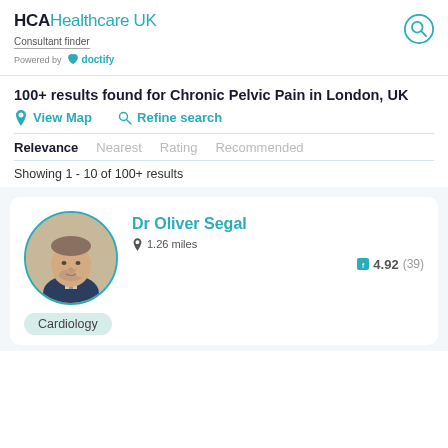HCAHealthcare UK Consultant finder Powered by doctify
100+ results found for Chronic Pelvic Pain in London, UK
View Map   Refine search
Relevance   Nearest   Rating   Recommended
Showing 1 - 10 of 100+ results
Dr Oliver Segal
1.26 miles
4.92 (39)
Cardiology